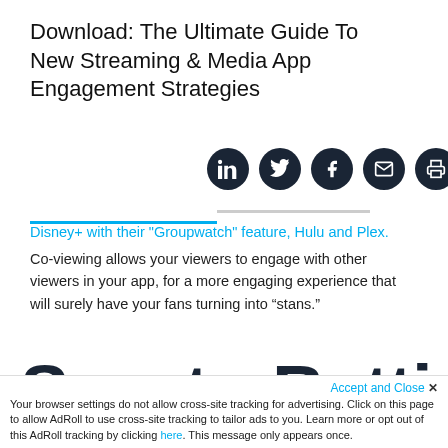Download: The Ultimate Guide To New Streaming & Media App Engagement Strategies
[Figure (other): Row of five dark circular social media share icons: LinkedIn, Twitter, Facebook, Email, Print]
Disney+ with their "Groupwatch" feature, Hulu and Plex.
Co-viewing allows your viewers to engage with other viewers in your app, for a more engaging experience that will surely have your fans turning into “stans.”
Sports-Betting
Your browser settings do not allow cross-site tracking for advertising. Click on this page to allow AdRoll to use cross-site tracking to tailor ads to you. Learn more or opt out of this AdRoll tracking by clicking here. This message only appears once.